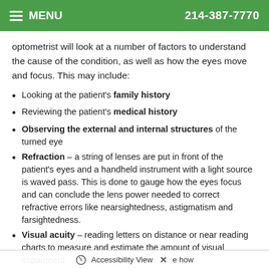MENU   214-387-7770
optometrist will look at a number of factors to understand the cause of the condition, as well as how the eyes move and focus. This may include:
Looking at the patient's family history
Reviewing the patient's medical history
Observing the external and internal structures of the turned eye
Refraction – a string of lenses are put in front of the patient's eyes and a handheld instrument with a light source is waved pass. This is done to gauge how the eyes focus and can conclude the lens power needed to correct refractive errors like nearsightedness, astigmatism and farsightedness.
Visual acuity – reading letters on distance or near reading charts to measure and estimate the amount of visual impairment
Focusing and alignment – how
Accessibility View  ×